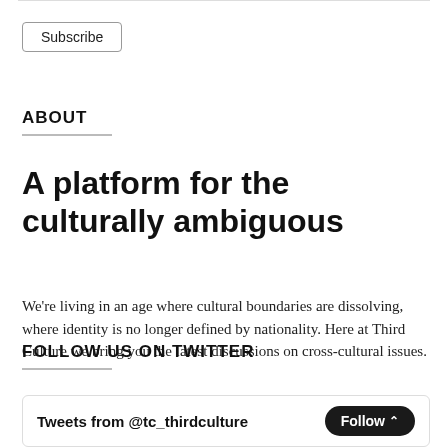Subscribe
ABOUT
A platform for the culturally ambiguous
We're living in an age where cultural boundaries are dissolving, where identity is no longer defined by nationality. Here at Third Culture we bring you the latest discussions on cross-cultural issues.
FOLLOW US ON TWITTER
Tweets from @tc_thirdculture Follow